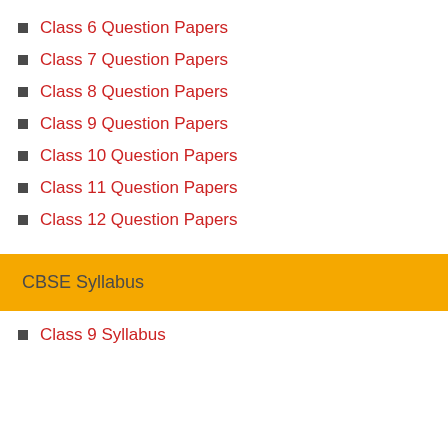Class 6 Question Papers
Class 7 Question Papers
Class 8 Question Papers
Class 9 Question Papers
Class 10 Question Papers
Class 11 Question Papers
Class 12 Question Papers
CBSE Syllabus
Class 9 Syllabus